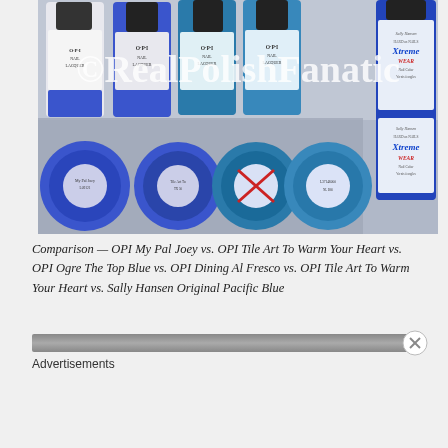[Figure (photo): A photo of several blue nail polish bottles from OPI and Sally Hansen brands, showing both the top view with caps and the bottom view of bottles. A watermark reading '©RealPolishFanatic' is overlaid on the image.]
Comparison — OPI My Pal Joey vs. OPI Tile Art To Warm Your Heart vs. OPI Ogre The Top Blue vs. OPI Dining Al Fresco vs. OPI Tile Art To Warm Your Heart vs. Sally Hansen Original Pacific Blue
Advertisements